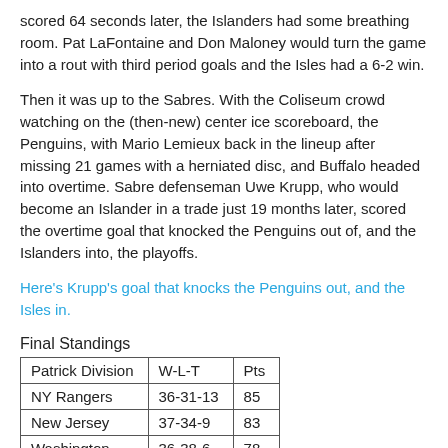scored 64 seconds later, the Islanders had some breathing room.  Pat LaFontaine and Don Maloney would turn the game into a rout with third period goals and the Isles had a 6-2 win.
Then it was up to the Sabres.  With the Coliseum crowd watching on the (then-new) center ice scoreboard, the Penguins, with Mario Lemieux back in the lineup after missing 21 games with a herniated disc, and Buffalo headed into overtime.  Sabre defenseman Uwe Krupp, who would become an Islander in a trade just 19 months later, scored the overtime goal that knocked the Penguins out of, and the Islanders into, the playoffs.
Here's Krupp's goal that knocks the Penguins out, and the Isles in.
Final Standings
| Patrick Division | W-L-T | Pts |
| --- | --- | --- |
| NY Rangers | 36-31-13 | 85 |
| New Jersey | 37-34-9 | 83 |
| Washington | 36-38-6 | 78 |